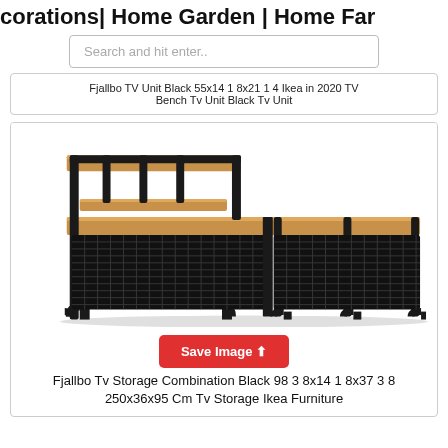corations| Home Garden | Home Far
Search and hit enter..
Fjallbo TV Unit Black 55x14 1 8x21 1 4 Ikea in 2020 TV Bench Tv Unit Black Tv Unit
[Figure (photo): Photo of Fjallbo TV storage combination unit in black with wooden shelves and mesh drawer fronts, long low profile with elevated section on left side]
Fjallbo Tv Storage Combination Black 98 3 8x14 1 8x37 3 8 250x36x95 Cm Tv Storage Ikea Furniture